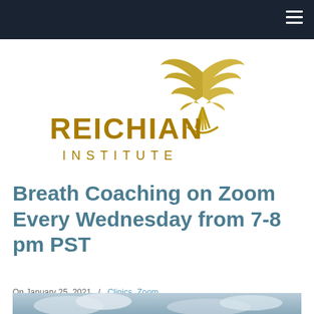[Figure (logo): Reichian Institute logo with golden stylized wing/bird graphic and text 'REICHIAN INSTITUTE' in gold lettering]
Breath Coaching on Zoom Every Wednesday from 7-8 pm PST
On January 25, 2021  /  Clinics, Zoom
[Figure (photo): Partial photo of clouds in a sky, visible at the bottom of the page]